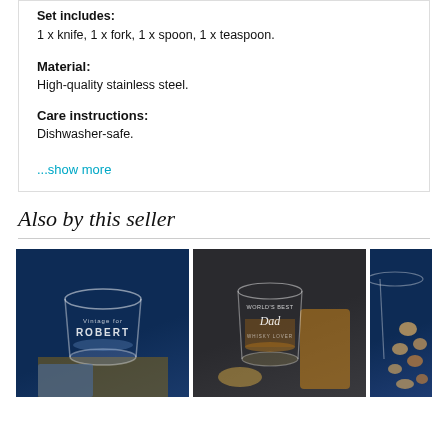Set includes:
1 x knife, 1 x fork, 1 x spoon, 1 x teaspoon.
Material:
High-quality stainless steel.
Care instructions:
Dishwasher-safe.
...show more
Also by this seller
[Figure (photo): Whisky glass engraved with ROBERT on dark blue background with blue cloth]
[Figure (photo): Whisky glass engraved with World's Best Dad on dark background with amber liquid]
[Figure (photo): Partial view of a glass with nuts in background on dark blue background]